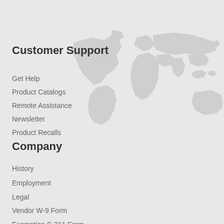Customer Support
Get Help
Product Catalogs
Remote Assistance
Newsletter
Product Recalls
Company
History
Employment
Legal
Vendor W-9 Form
Exemption S-211 Form
Credit Application
[Figure (map): Faint grey world map watermark in background]